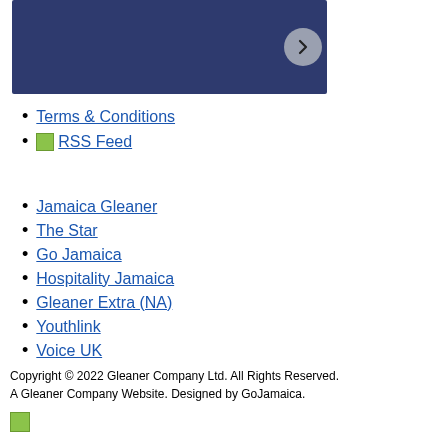[Figure (screenshot): Dark navy blue banner/slideshow image with a circular grey next arrow button on the right side]
Terms & Conditions
RSS Feed
Jamaica Gleaner
The Star
Go Jamaica
Hospitality Jamaica
Gleaner Extra (NA)
Youthlink
Voice UK
Copyright © 2022 Gleaner Company Ltd. All Rights Reserved. A Gleaner Company Website. Designed by GoJamaica.